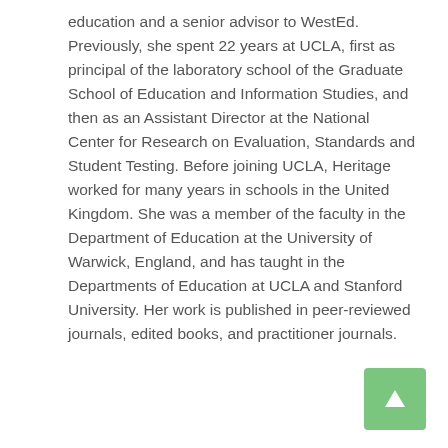education and a senior advisor to WestEd. Previously, she spent 22 years at UCLA, first as principal of the laboratory school of the Graduate School of Education and Information Studies, and then as an Assistant Director at the National Center for Research on Evaluation, Standards and Student Testing. Before joining UCLA, Heritage worked for many years in schools in the United Kingdom. She was a member of the faculty in the Department of Education at the University of Warwick, England, and has taught in the Departments of Education at UCLA and Stanford University. Her work is published in peer-reviewed journals, edited books, and practitioner journals.
[Figure (other): Green button with upward arrow (back to top navigation button)]